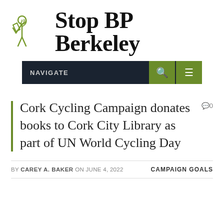[Figure (logo): Stop BP Berkeley logo: a stick figure person with a megaphone silhouette in olive green, next to site title text]
Stop BP Berkeley
NAVIGATE
Cork Cycling Campaign donates books to Cork City Library as part of UN World Cycling Day
0 comments
BY CAREY A. BAKER ON JUNE 4, 2022
CAMPAIGN GOALS